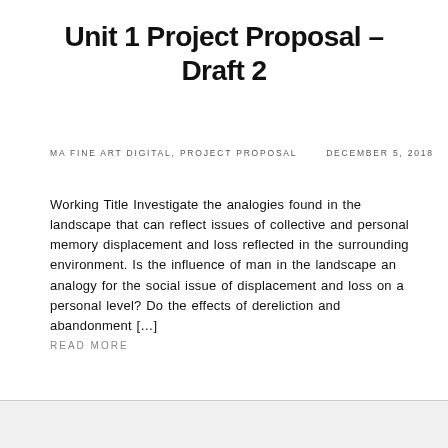Unit 1 Project Proposal – Draft 2
MA FINE ART DIGITAL, PROJECT PROPOSAL     DECEMBER 5, 2018
Working Title Investigate the analogies found in the landscape that can reflect issues of collective and personal memory displacement and loss reflected in the surrounding environment. Is the influence of man in the landscape an analogy for the social issue of displacement and loss on a personal level? Do the effects of dereliction and abandonment […]
Read more
Follow ...